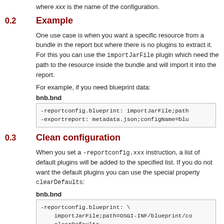where xxx is the name of the configuration.
0.2  Example
One use case is when you want a specific resource from a bundle in the report but where there is no plugins to extract it. For this you can use the importJarFile plugin which need the path to the resource inside the bundle and will import it into the report.
For example, if you need blueprint data:
bnb.bnd
-reportconfig.blueprint: importJarFile;path
-exportreport: metadata.json;configName=blu
0.3  Clean configuration
When you set a -reportconfig.xxx instruction, a list of default plugins will be added to the specified list. If you do not want the default plugins you can use the special property clearDefaults:
bnb.bnd
-reportconfig.blueprint: \
    importJarFile;path=OSGI-INF/blueprint/co
    clearDefaults